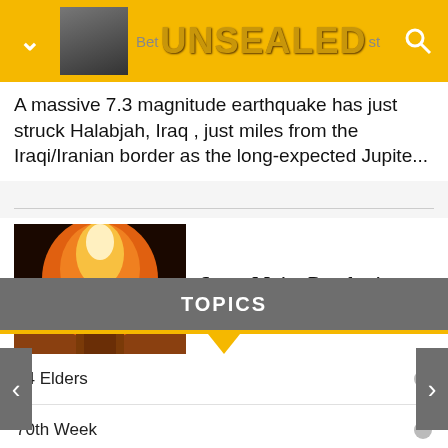UNSEALED
A massive 7.3 magnitude earthquake has just struck Halabjah, Iraq , just miles from the Iraqi/Iranian border as the long-expected Jupite...
[Figure (photo): Nuclear explosion mushroom cloud over dark landscape]
Seven Major Prophecies Converge
even more biblical prophecies have suddenly come into much clearer focus all at the same time .  These are happening just eight months ...
TOPICS
24 Elders
70th Week
Abortion